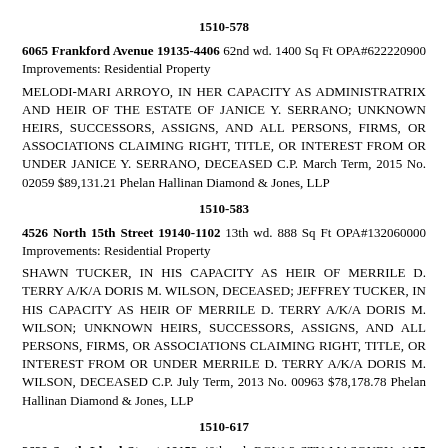1510-578
6065 Frankford Avenue 19135-4406 62nd wd. 1400 Sq Ft OPA#622220900 Improvements: Residential Property
MELODI-MARI ARROYO, IN HER CAPACITY AS ADMINISTRATRIX AND HEIR OF THE ESTATE OF JANICE Y. SERRANO; UNKNOWN HEIRS, SUCCESSORS, ASSIGNS, AND ALL PERSONS, FIRMS, OR ASSOCIATIONS CLAIMING RIGHT, TITLE, OR INTEREST FROM OR UNDER JANICE Y. SERRANO, DECEASED C.P. March Term, 2015 No. 02059 $89,131.21 Phelan Hallinan Diamond & Jones, LLP
1510-583
4526 North 15th Street 19140-1102 13th wd. 888 Sq Ft OPA#132060000 Improvements: Residential Property
SHAWN TUCKER, IN HIS CAPACITY AS HEIR OF MERRILE D. TERRY A/K/A DORIS M. WILSON, DECEASED; JEFFREY TUCKER, IN HIS CAPACITY AS HEIR OF MERRILE D. TERRY A/K/A DORIS M. WILSON; UNKNOWN HEIRS, SUCCESSORS, ASSIGNS, AND ALL PERSONS, FIRMS, OR ASSOCIATIONS CLAIMING RIGHT, TITLE, OR INTEREST FROM OR UNDER MERRILE D. TERRY A/K/A DORIS M. WILSON, DECEASED C.P. July Term, 2013 No. 00963 $78,178.78 Phelan Hallinan Diamond & Jones, LLP
1510-617
2639 South Lloyd Street 19153 40th wd. ROW 2 STY MASONRY; 1155 Sq Ft BRT#404014800 Improvements: Residential Dwelling